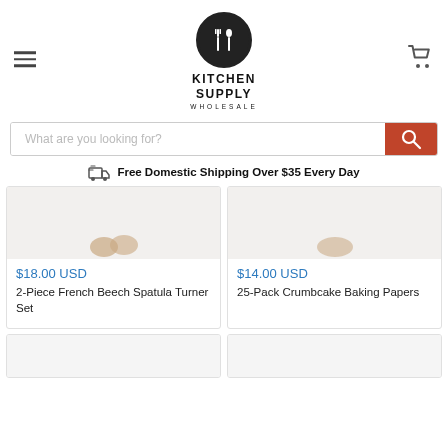[Figure (logo): Kitchen Supply Wholesale logo with circular icon containing fork and spoon silhouettes]
KITCHEN SUPPLY WHOLESALE
[Figure (screenshot): Search bar with placeholder 'What are you looking for?' and red search button]
Free Domestic Shipping Over $35 Every Day
$18.00 USD
2-Piece French Beech Spatula Turner Set
$14.00 USD
25-Pack Crumbcake Baking Papers